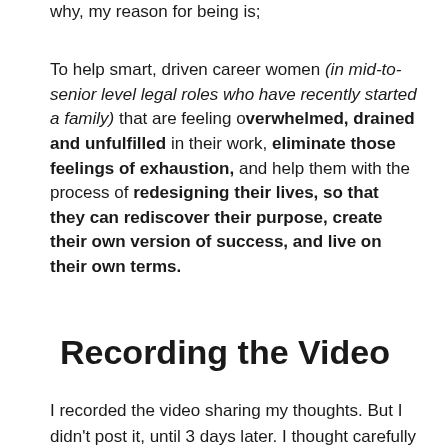why, my reason for being is;
To help smart, driven career women (in mid-to-senior level legal roles who have recently started a family) that are feeling overwhelmed, drained and unfulfilled in their work, eliminate those feelings of exhaustion, and help them with the process of redesigning their lives, so that they can rediscover their purpose, create their own version of success, and live on their own terms.
Recording the Video
I recorded the video sharing my thoughts. But I didn't post it, until 3 days later. I thought carefully about